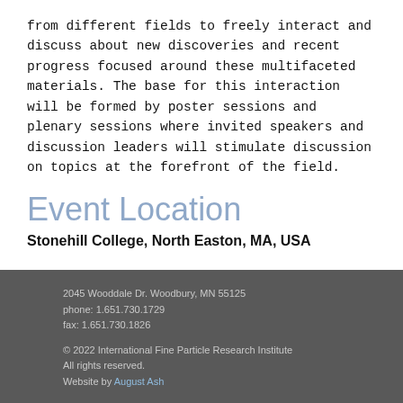from different fields to freely interact and discuss about new discoveries and recent progress focused around these multifaceted materials. The base for this interaction will be formed by poster sessions and plenary sessions where invited speakers and discussion leaders will stimulate discussion on topics at the forefront of the field.
Event Location
Stonehill College, North Easton, MA, USA
2045 Wooddale Dr. Woodbury, MN 55125
phone: 1.651.730.1729
fax: 1.651.730.1826

© 2022 International Fine Particle Research Institute
All rights reserved.
Website by August Ash